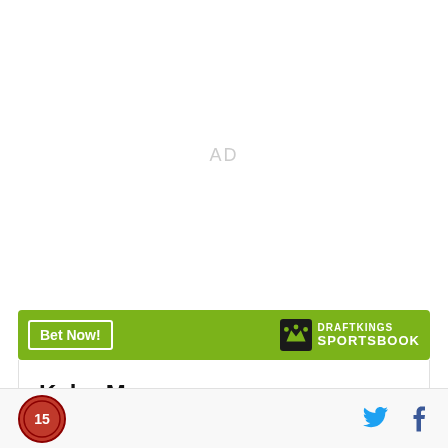[Figure (other): AD placeholder area - white background with 'AD' text in light gray]
[Figure (other): DraftKings Sportsbook advertisement banner with green background, 'Bet Now!' button, DraftKings crown logo and SPORTSBOOK text]
Kyler Murray
[Figure (other): Footer with site logo (circular red logo), Twitter bird icon in blue, Facebook f icon in dark blue]